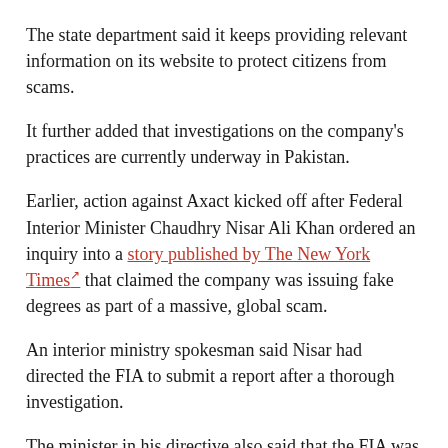The state department said it keeps providing relevant information on its website to protect citizens from scams.
It further added that investigations on the company's practices are currently underway in Pakistan.
Earlier, action against Axact kicked off after Federal Interior Minister Chaudhry Nisar Ali Khan ordered an inquiry into a story published by The New York Times that claimed the company was issuing fake degrees as part of a massive, global scam.
An interior ministry spokesman said Nisar had directed the FIA to submit a report after a thorough investigation.
The minister in his directive also said that the FIA was to determine whether the contents of the NYT story were true and whether the company was involved in any illegal business which may bring a "bad name" to Pakistan.